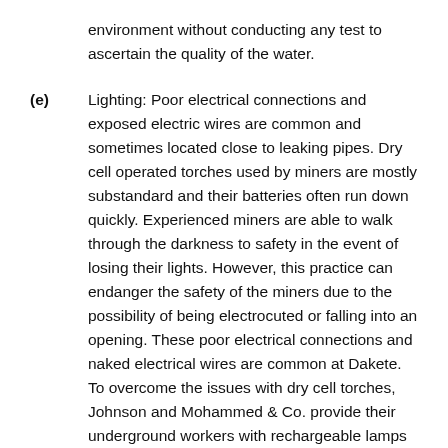environment without conducting any test to ascertain the quality of the water.
(e) Lighting: Poor electrical connections and exposed electric wires are common and sometimes located close to leaking pipes. Dry cell operated torches used by miners are mostly substandard and their batteries often run down quickly. Experienced miners are able to walk through the darkness to safety in the event of losing their lights. However, this practice can endanger the safety of the miners due to the possibility of being electrocuted or falling into an opening. These poor electrical connections and naked electrical wires are common at Dakete. To overcome the issues with dry cell torches, Johnson and Mohammed & Co. provide their underground workers with rechargeable lamps to provide them with light